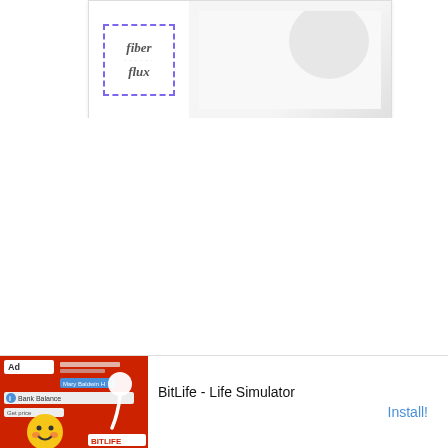[Figure (logo): Fiber Flux logo: a square with dashed purple border containing the words 'fiber' and 'flux' in italic serif font, with a dotted decorative line between them. To the right is a light gray image area partially visible.]
Click below to watch a video on how to make the
[Figure (screenshot): Ad banner for BitLife - Life Simulator app. Left side shows a red background with cartoon face emoji, sperm icon, and app UI elements. Right side shows 'BitLife - Life Simulator' text and an Install! button.]